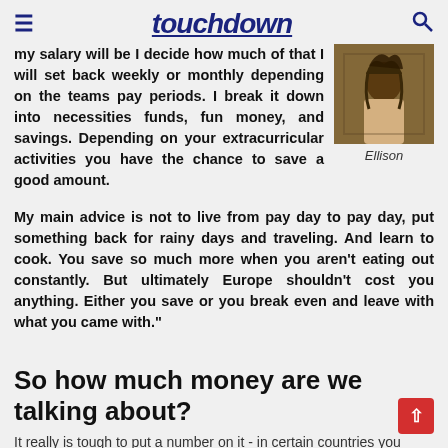touchdown
my salary will be I decide how much of that I will set back weekly or monthly depending on the teams pay periods. I break it down into necessities funds, fun money, and savings. Depending on your extracurricular activities you have the chance to save a good amount.
[Figure (photo): Photo of Ellison, a person with dreadlocks]
Ellison
My main advice is not to live from pay day to pay day, put something back for rainy days and traveling. And learn to cook. You save so much more when you aren't eating out constantly. But ultimately Europe shouldn't cost you anything. Either you save or you break even and leave with what you came with."
So how much money are we talking about?
It really is tough to put a number on it - in certain countries you...